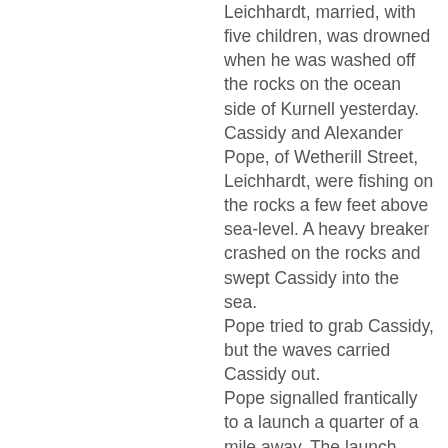Leichhardt, married, with five children, was drowned when he was washed off the rocks on the ocean side of Kurnell yesterday. Cassidy and Alexander Pope, of Wetherill Street, Leichhardt, were fishing on the rocks a few feet above sea-level. A heavy breaker crashed on the rocks and swept Cassidy into the sea. Pope tried to grab Cassidy, but the waves carried Cassidy out. Pope signalled frantically to a launch a quarter of a mile away. The launch came in and reached Cassidy. He was unconscious when he was lifted aboard. The occupants of the launch applied artificial resuscitation as they took